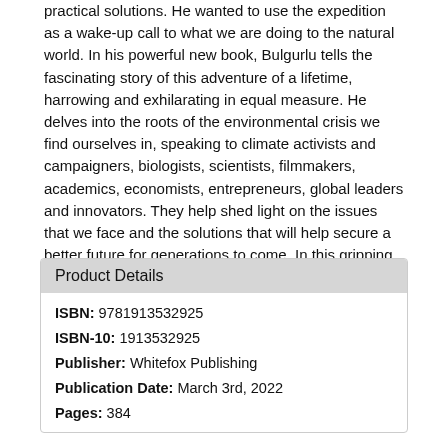practical solutions. He wanted to use the expedition as a wake-up call to what we are doing to the natural world. In his powerful new book, Bulgurlu tells the fascinating story of this adventure of a lifetime, harrowing and exhilarating in equal measure. He delves into the roots of the environmental crisis we find ourselves in, speaking to climate activists and campaigners, biologists, scientists, filmmakers, academics, economists, entrepreneurs, global leaders and innovators. They help shed light on the issues that we face and the solutions that will help secure a better future for generations to come. In this gripping account of his journey, Bulgurlu describes the challenges he faced in reaching the summit, and the challenges we all face in protecting the planet and the future of humanity.
| Product Details |
| --- |
| ISBN: | 9781913532925 |
| ISBN-10: | 1913532925 |
| Publisher: | Whitefox Publishing |
| Publication Date: | March 3rd, 2022 |
| Pages: | 384 |